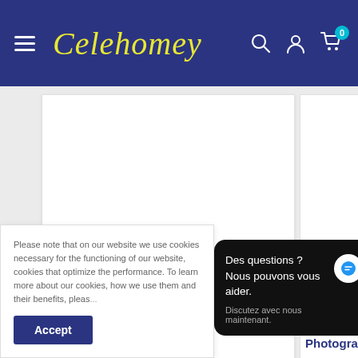Celehomey — navigation bar with hamburger menu, logo, search, account, and cart icons
Vintage Colorful Wood Photo Background Studio Backdrop
Retro Wood Photo B... Studio Photography...
Please note that on our website we use cookies necessary for the functioning of our website, cookies that optimize the performance. To learn more about our cookies, how we use them and their benefits, pleas...
Accept
Des questions ? Nous pouvons vous aider.
Discutez avec nous maintenant.